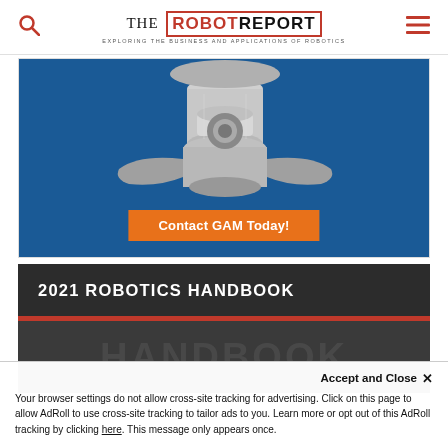THE ROBOT REPORT — EXPLORING THE BUSINESS AND APPLICATIONS OF ROBOTICS
[Figure (photo): Mechanical gear/coupling component on blue background with orange 'Contact GAM Today!' button]
2021 ROBOTICS HANDBOOK
Accept and Close ✕ Your browser settings do not allow cross-site tracking for advertising. Click on this page to allow AdRoll to use cross-site tracking to tailor ads to you. Learn more or opt out of this AdRoll tracking by clicking here. This message only appears once.